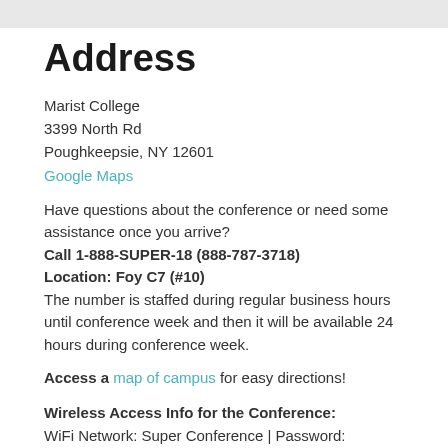Address
Marist College
3399 North Rd
Poughkeepsie, NY 12601
Google Maps
Have questions about the conference or need some assistance once you arrive?
Call 1-888-SUPER-18 (888-787-3718)
Location: Foy C7 (#10)
The number is staffed during regular business hours until conference week and then it will be available 24 hours during conference week.
Access a map of campus for easy directions!
Wireless Access Info for the Conference:
WiFi Network: Super Conference | Password: marist18